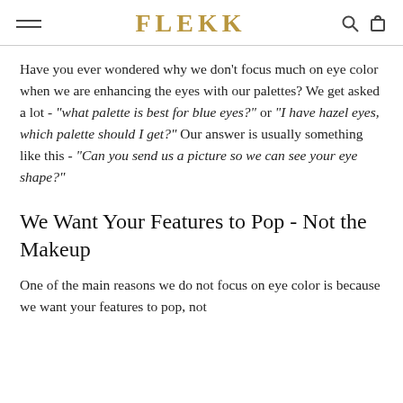FLEKK
Have you ever wondered why we don't focus much on eye color when we are enhancing the eyes with our palettes? We get asked a lot - "what palette is best for blue eyes?" or "I have hazel eyes, which palette should I get?" Our answer is usually something like this - "Can you send us a picture so we can see your eye shape?"
We Want Your Features to Pop - Not the Makeup
One of the main reasons we do not focus on eye color is because we want your features to pop, not